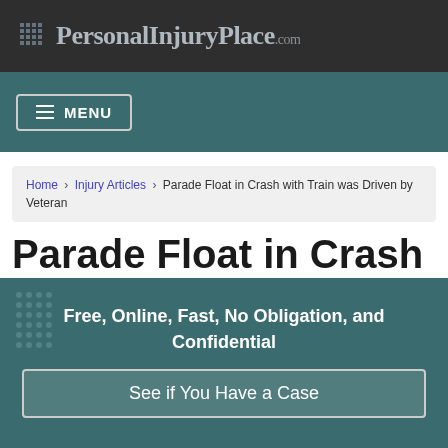PersonalInjuryPlace.com
MENU
Home › Injury Articles › Parade Float in Crash with Train was Driven by Veteran
Parade Float in Crash with Train was Driven by Veteran
Free, Online, Fast, No Obligation, and Confidential
See if You Have a Case